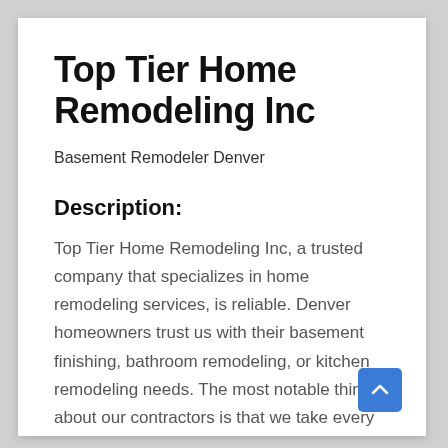Top Tier Home Remodeling Inc
Basement Remodeler Denver
Description:
Top Tier Home Remodeling Inc, a trusted company that specializes in home remodeling services, is reliable. Denver homeowners trust us with their basement finishing, bathroom remodeling, or kitchen remodeling needs. The most notable thing about our contractors is that we take every project with optimal professionalism. We guide our clients through every step of the remodel process to make sure they have a smooth project. We also answer their questions in the